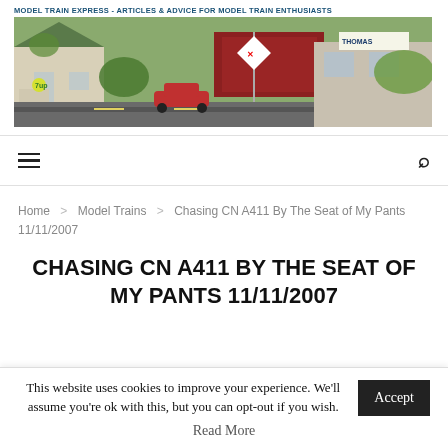MODEL TRAIN EXPRESS - ARTICLES & ADVICE FOR MODEL TRAIN ENTHUSIASTS
[Figure (photo): Banner photo of a model train layout scene showing a small-town street with buildings, vintage cars, a railroad crossing sign, and detailed scenery.]
Home > Model Trains > Chasing CN A411 By The Seat of My Pants 11/11/2007
CHASING CN A411 BY THE SEAT OF MY PANTS 11/11/2007
This website uses cookies to improve your experience. We'll assume you're ok with this, but you can opt-out if you wish.
Read More